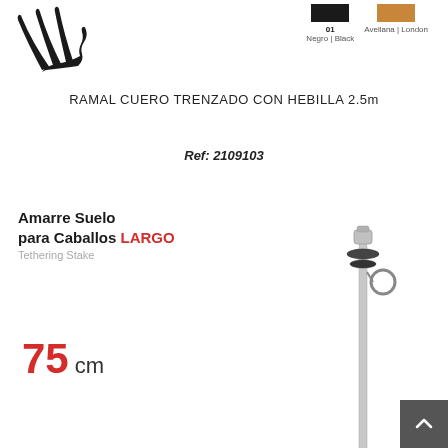[Figure (logo): Brand logo: stylized claw/hand mark in black, resembling raking fingers]
[Figure (other): Two color swatches: 01 Negro/Black (dark square) and hazel/London (orange-tan square) with labels]
RAMAL CUERO TRENZADO CON HEBILLA 2.5m
Ref: 2109103
Amarre Suelo para Caballos LARGO
Tethering Stake
75 cm
[Figure (photo): Product photo: a long metallic tethering stake/ground anchor with rings and screw top, vertical orientation, approximately 75cm long]